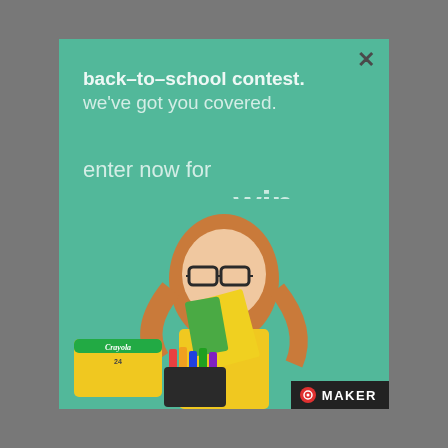[Figure (infographic): Back-to-school contest advertisement from Staples Canada / Parents Canada featuring a girl holding school supplies on a teal/green background. Text overlay from another page partially visible.]
back-to-school contest. we've got you covered.
enter now for your chance to win.
BABY
Birthday 101: Tips For A First Birthday Party
PARENTS Canada
staples
Amanda Bloye
MAKER